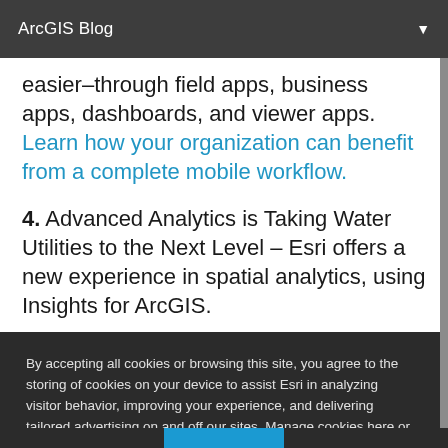ArcGIS Blog
easier–through field apps, business apps, dashboards, and viewer apps. Learn how your organization can benefit from a complete mobile workflow.
4. Advanced Analytics is Taking Water Utilities to the Next Level – Esri offers a new experience in spatial analytics, using Insights for ArcGIS.
By accepting all cookies or browsing this site, you agree to the storing of cookies on your device to assist Esri in analyzing visitor behavior, improving your experience, and delivering tailored advertising on and off our sites. Manage cookies here or at the bottom of any page.